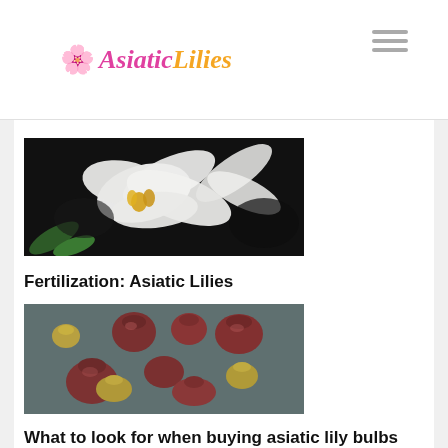Asiatic Lilies
[Figure (photo): White lily flower with yellow stamens against a dark background]
Fertilization: Asiatic Lilies
[Figure (photo): Several small asiatic lily bulbs on a gray surface]
What to look for when buying asiatic lily bulbs